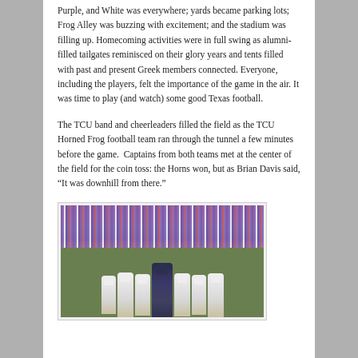Purple, and White was everywhere; yards became parking lots; Frog Alley was buzzing with excitement; and the stadium was filling up. Homecoming activities were in full swing as alumni-filled tailgates reminisced on their glory years and tents filled with past and present Greek members connected. Everyone, including the players, felt the importance of the game in the air. It was time to play (and watch) some good Texas football.

The TCU band and cheerleaders filled the field as the TCU Horned Frog football team ran through the tunnel a few minutes before the game. Captains from both teams met at the center of the field for the coin toss: the Horns won, but as Brian Davis said, “It was downhill from there.”
[Figure (photo): Football game action photo showing TCU Horned Frogs players in dark purple jerseys running with the ball surrounded by University of Texas Longhorns players in white jerseys, with a large purple-clad crowd visible in the background stands.]